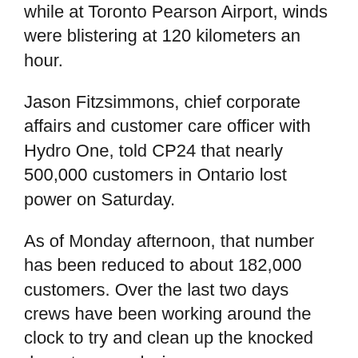while at Toronto Pearson Airport, winds were blistering at 120 kilometers an hour.
Jason Fitzsimmons, chief corporate affairs and customer care officer with Hydro One, told CP24 that nearly 500,000 customers in Ontario lost power on Saturday.
As of Monday afternoon, that number has been reduced to about 182,000 customers. Over the last two days crews have been working around the clock to try and clean up the knocked down trees and wires.
The hardest hit areas were Newmarket, Peterborough and Uxbridge. Fitzimmons said that nearly 800 hydro poles across Ontario were broken and four transmission towers in Ottawa